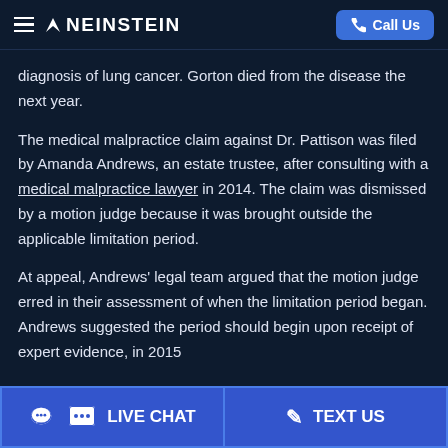NEINSTEIN — Call Us
diagnosis of lung cancer. Gorton died from the disease the next year.
The medical malpractice claim against Dr. Pattison was filed by Amanda Andrews, an estate trustee, after consulting with a medical malpractice lawyer in 2014. The claim was dismissed by a motion judge because it was brought outside the applicable limitation period.
At appeal, Andrews' legal team argued that the motion judge erred in their assessment of when the limitation period began. Andrews suggested the period should begin upon receipt of expert evidence, in 2015
LIVE CHAT   TEXT US